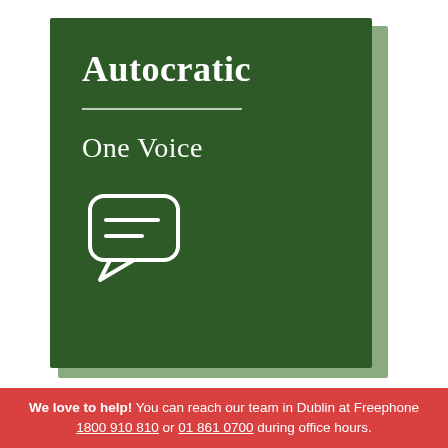[Figure (illustration): Book cover with dark green background showing the title 'Autocratic' in large bold white serif font, a horizontal white divider line, subtitle 'One Voice' in white serif font, and a white outline chat/speech bubble icon at the bottom left. The book has a lighter green shadow/page effect on the right and bottom edges.]
We love to help! You can reach our team in Dublin at Freephone 1800 910 810 or 01 861 0700 during office hours.